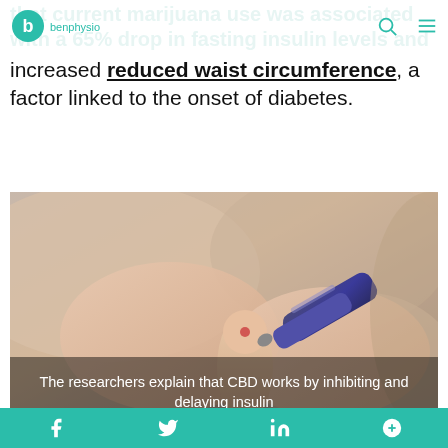benphysio.com navigation header with logo and icons
that current marijuana use was associated with a 65% drop in fasting insulin levels and increased reduced waist circumference, a factor linked to the onset of diabetes.
[Figure (photo): Close-up photo of a person's hands using a blood glucose testing pen device on a fingertip. Caption overlay reads: The researchers explain that CBD works by inhibiting and delaying insulin]
The researchers explain that CBD works by inhibiting and delaying insulin
These data support the hypotheses that CBD, which is known to be safe for humans, may potentially be used as a therapeutic agent for the treatment of early stage 1 diabetes of the disease.
f (Facebook) | Twitter | in (LinkedIn) | share icon